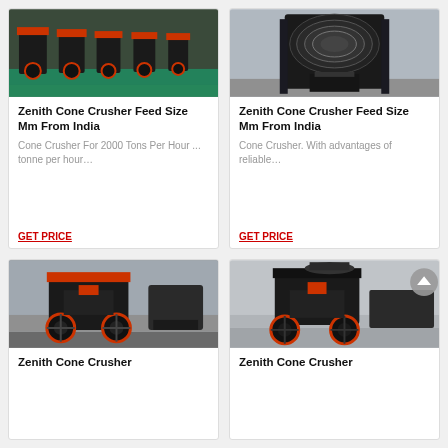[Figure (photo): Zenith cone crushers in a factory with green floor, multiple machines lined up]
Zenith Cone Crusher Feed Size Mm From India
Cone Crusher For 2000 Tons Per Hour ... tonne per hour…
GET PRICE
[Figure (photo): Zenith cone crusher in factory, dark colored large machine on metal frame]
Zenith Cone Crusher Feed Size Mm From India
Cone Crusher. With advantages of reliable…
GET PRICE
[Figure (photo): Zenith cone crusher in large industrial hall, black and red machine]
Zenith Cone Crusher
[Figure (photo): Zenith cone crusher in factory showroom, black and red machine front view]
Zenith Cone Crusher